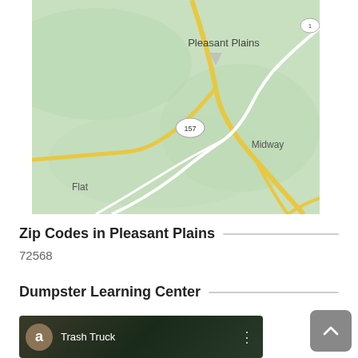[Figure (map): Map showing Pleasant Plains area with roads including route 157, nearby areas labeled: Flat, Midway, Pleasant Plains. Yellow roads on light green terrain background.]
Zip Codes in Pleasant Plains
72568
Dumpster Learning Center
[Figure (screenshot): Video thumbnail showing a trash truck video with avatar icon labeled 'a' and title 'Trash Truck' with a three-dot menu icon.]